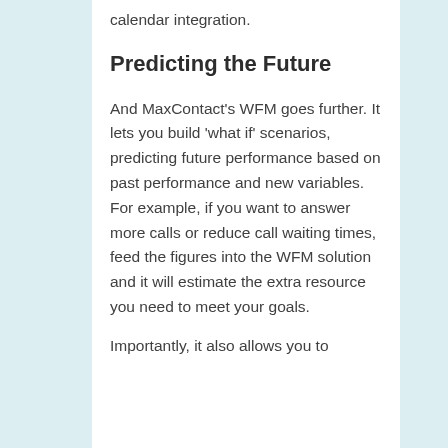calendar integration.
Predicting the Future
And MaxContact’s WFM goes further. It lets you build ‘what if’ scenarios, predicting future performance based on past performance and new variables. For example, if you want to answer more calls or reduce call waiting times, feed the figures into the WFM solution and it will estimate the extra resource you need to meet your goals.
Importantly, it also allows you to